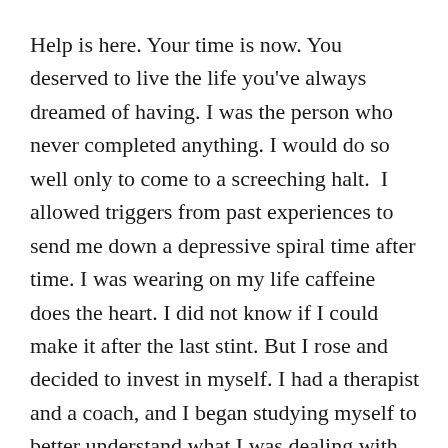Help is here. Your time is now. You deserved to live the life you've always dreamed of having. I was the person who never completed anything. I would do so well only to come to a screeching halt.  I allowed triggers from past experiences to send me down a depressive spiral time after time. I was wearing on my life caffeine does the heart. I did not know if I could make it after the last stint. But I rose and decided to invest in myself. I had a therapist and a coach, and I began studying myself to better understand what I was dealing with internally. There are roots, and the ax of truth must be laid to them to live our lives by design. You are worthy never forget that.